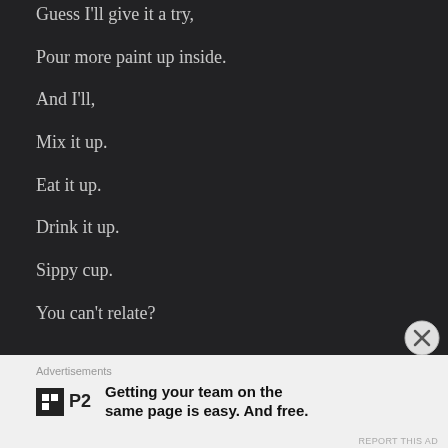Guess I'll give it a try,
Pour more paint up inside.
And I'll,
Mix it up.
Eat it up.
Drink it up.
Sippy cup.
You can't relate?
Advertisements
Getting your team on the same page is easy. And free.